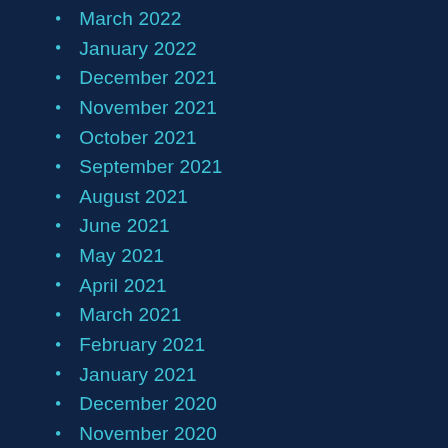March 2022
January 2022
December 2021
November 2021
October 2021
September 2021
August 2021
June 2021
May 2021
April 2021
March 2021
February 2021
January 2021
December 2020
November 2020
October 2020
September 2020
August 2020
July 2020